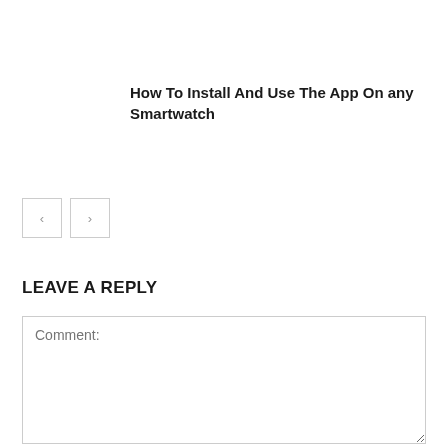How To Install And Use The App On any Smartwatch
[Figure (other): Navigation previous and next arrow buttons]
LEAVE A REPLY
Comment: